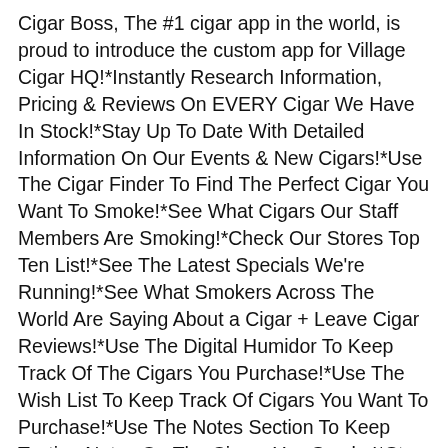Cigar Boss, The #1 cigar app in the world, is proud to introduce the custom app for Village Cigar HQ!*Instantly Research Information, Pricing & Reviews On EVERY Cigar We Have In Stock!*Stay Up To Date With Detailed Information On Our Events & New Cigars!*Use The Cigar Finder To Find The Perfect Cigar You Want To Smoke!*See What Cigars Our Staff Members Are Smoking!*Check Our Stores Top Ten List!*See The Latest Specials We're Running!*See What Smokers Across The World Are Saying About a Cigar + Leave Cigar Reviews!*Use The Digital Humidor To Keep Track Of The Cigars You Purchase!*Use The Wish List To Keep Track Of Cigars You Want To Purchase!*Use The Notes Section To Keep Tasting Notes On The Cigars You Smoke!*Stay Up To Date With The Latest In The Cigar Industry In The Cigar News Section.*Instantly Share What Your Smoking On Facebook & Twitter!*View Our Facebook & Twitter Pages Right Inside The App!*View Our Website From The App!